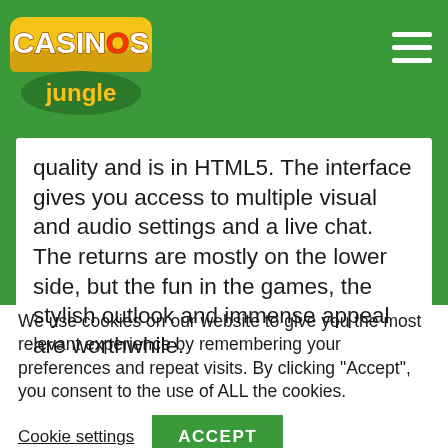Casinos Jungle
quality and is in HTML5. The interface gives you access to multiple visual and audio settings and a live chat. The returns are mostly on the lower side, but the fun in the games, the stylish outlook and immense appeal are worthwhile.
We use cookies on our website to give you the most relevant experience by remembering your preferences and repeat visits. By clicking “Accept”, you consent to the use of ALL the cookies.
Cookie settings
ACCEPT